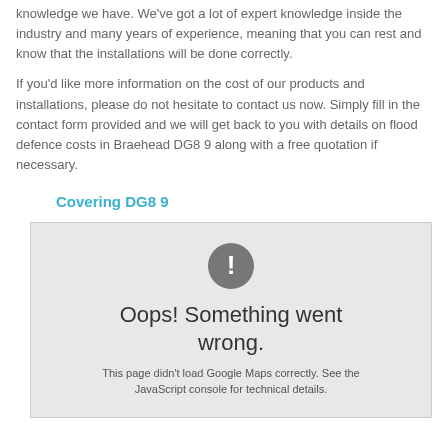knowledge we have. We've got a lot of expert knowledge inside the industry and many years of experience, meaning that you can rest and know that the installations will be done correctly.
If you'd like more information on the cost of our products and installations, please do not hesitate to contact us now. Simply fill in the contact form provided and we will get back to you with details on flood defence costs in Braehead DG8 9 along with a free quotation if necessary.
Covering DG8 9
[Figure (screenshot): Google Maps error screenshot showing a grey box with a circle exclamation icon, text 'Oops! Something went wrong.' and 'This page didn't load Google Maps correctly. See the JavaScript console for technical details.']